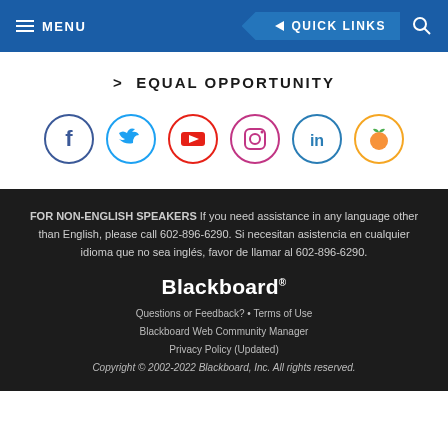MENU   QUICK LINKS
> EQUAL OPPORTUNITY
[Figure (other): Six social media icons in circles: Facebook (blue), Twitter (blue), YouTube (red), Instagram (gradient/purple), LinkedIn (teal), Peachjar (orange)]
FOR NON-ENGLISH SPEAKERS If you need assistance in any language other than English, please call 602-896-6290. Si necesitan asistencia en cualquier idioma que no sea inglés, favor de llamar al 602-896-6290.
Blackboard® Questions or Feedback? • Terms of Use Blackboard Web Community Manager Privacy Policy (Updated) Copyright © 2002-2022 Blackboard, Inc. All rights reserved.